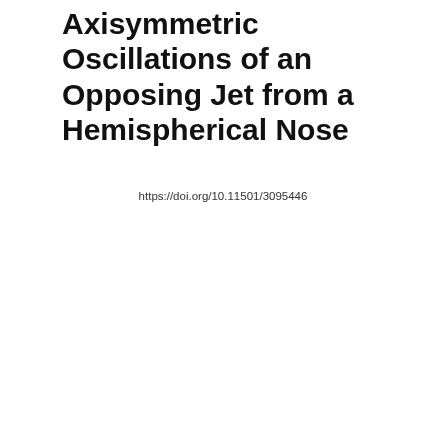Axisymmetric Oscillations of an Opposing Jet from a Hemispherical Nose
https://doi.org/10.11501/3095446
|  | ファイル / ファイル説明 | サイズ種別 | アクション |
| --- | --- | --- | --- |
| ☐ | 273296.pdf (28.3 MB) |  | Download / Information |
| Item type | 学位論文 / Thesis or Dissertation(1) |
| --- | --- |
| 公開日 | 2013-04-25 |